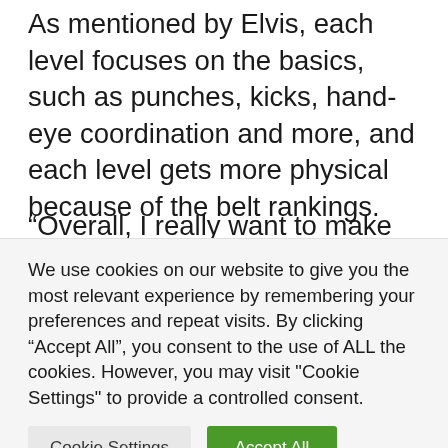As mentioned by Elvis, each level focuses on the basics, such as punches, kicks, hand-eye coordination and more, and each level gets more physical because of the belt rankings.
“Overall, I really want to make this a learning experience for the whole family, where the kids don’t have to join the classes,” Alves said. “In the long run also, I want to teach my students discipline, respect, kindness,
We use cookies on our website to give you the most relevant experience by remembering your preferences and repeat visits. By clicking “Accept All”, you consent to the use of ALL the cookies. However, you may visit "Cookie Settings" to provide a controlled consent.